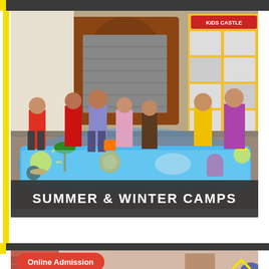[Figure (photo): Group of children playing in a colorful inflatable pool outdoors near a school; a sign reading 'KIDS CASTLE' is visible in the background with photo displays on the wall]
SUMMER & WINTER CAMPS
[Figure (photo): Indoor classroom scene with children and teacher, pink brick wall visible]
Online Admission